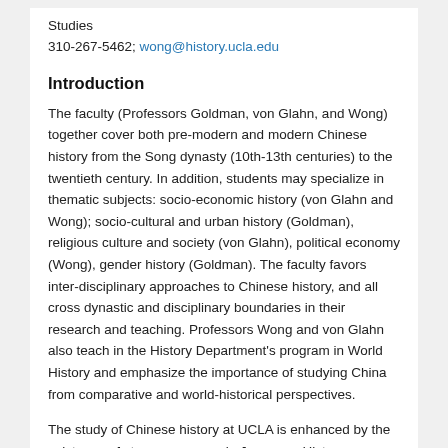Studies
310-267-5462; wong@history.ucla.edu
Introduction
The faculty (Professors Goldman, von Glahn, and Wong) together cover both pre-modern and modern Chinese history from the Song dynasty (10th-13th centuries) to the twentieth century. In addition, students may specialize in thematic subjects: socio-economic history (von Glahn and Wong); socio-cultural and urban history (Goldman), religious culture and society (von Glahn), political economy (Wong), gender history (Goldman). The faculty favors inter-disciplinary approaches to Chinese history, and all cross dynastic and disciplinary boundaries in their research and teaching. Professors Wong and von Glahn also teach in the History Department's program in World History and emphasize the importance of studying China from comparative and world-historical perspectives.
The study of Chinese history at UCLA is enhanced by the existence of strong programs in Japanese History, European History, Gender History, Economic History, and World History,